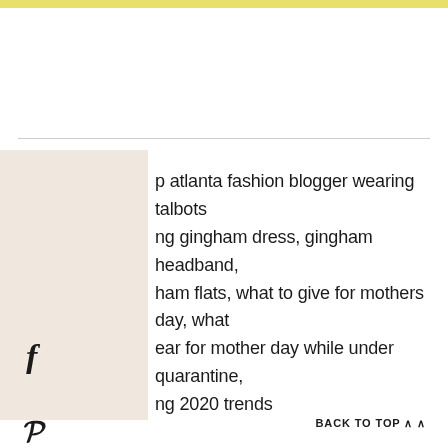[Figure (other): Yellow decorative bar at top of page]
[Figure (other): Beige/cream sidebar panel with Facebook, Pinterest, and Twitter social share icons]
p atlanta fashion blogger wearing talbots ng gingham dress, gingham headband, ham flats, what to give for mothers day, what ear for mother day while under quarantine, ng 2020 trends
BACK TO TOP ^